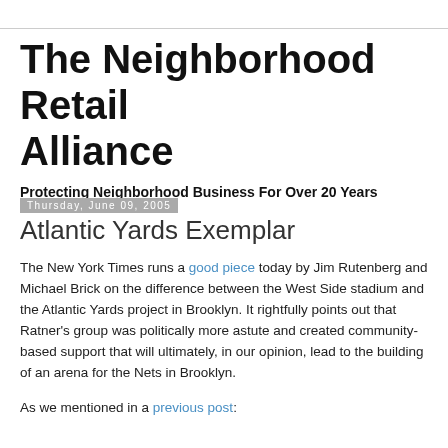The Neighborhood Retail Alliance
Protecting Neighborhood Business For Over 20 Years
Thursday, June 09, 2005
Atlantic Yards Exemplar
The New York Times runs a good piece today by Jim Rutenberg and Michael Brick on the difference between the West Side stadium and the Atlantic Yards project in Brooklyn. It rightfully points out that Ratner's group was politically more astute and created community-based support that will ultimately, in our opinion, lead to the building of an arena for the Nets in Brooklyn.
As we mentioned in a previous post: